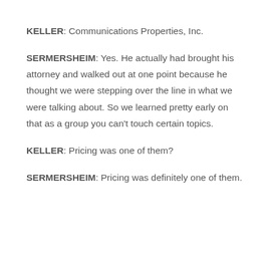KELLER: Communications Properties, Inc.
SERMERSHEIM: Yes. He actually had brought his attorney and walked out at one point because he thought we were stepping over the line in what we were talking about. So we learned pretty early on that as a group you can't touch certain topics.
KELLER: Pricing was one of them?
SERMERSHEIM: Pricing was definitely one of them.